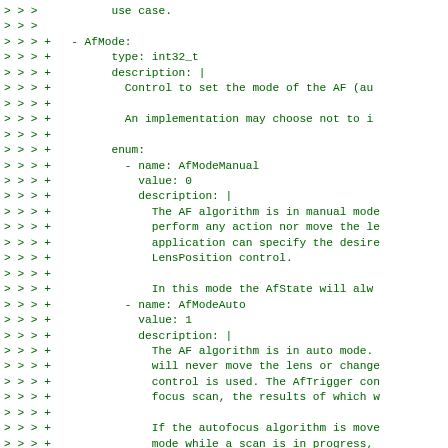Code diff showing AfMode YAML configuration with AfModeManual and AfModeAuto enum definitions including types, values, and descriptions for an autofocus control API.